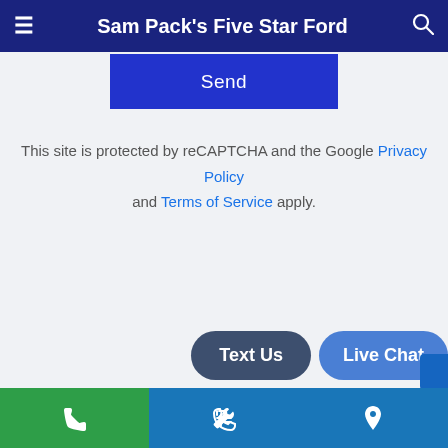Sam Pack's Five Star Ford
Send
This site is protected by reCAPTCHA and the Google Privacy Policy and Terms of Service apply.
Text Us  Live Chat